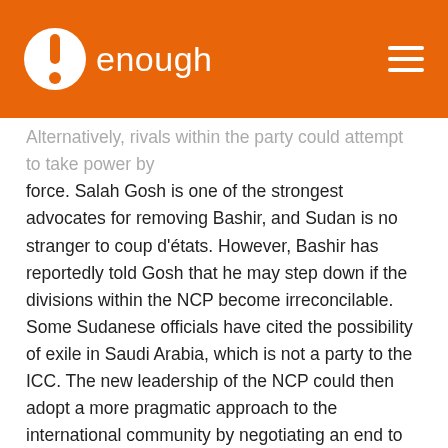enough
Alternatively, rivals within the party could attempt to take power by force. Salah Gosh is one of the strongest advocates for removing Bashir, and Sudan is no stranger to coup d'états. However, Bashir has reportedly told Gosh that he may step down if the divisions within the NCP become irreconcilable. Some Sudanese officials have cited the possibility of exile in Saudi Arabia, which is not a party to the ICC. The new leadership of the NCP could then adopt a more pragmatic approach to the international community by negotiating an end to the war in Darfur and recommitting itself—although unenthusiastically—to the CPA. Bashir's peaceful departure would undoubtedly be in the best interests of the NCP and the country as a whole, but some Bashir loyalists have threatened to kill Vice President Ali Osman Taha if any attempt is made to remove Bashir from power. Here again, it is important to note that after charges were brought against both Charles Taylor